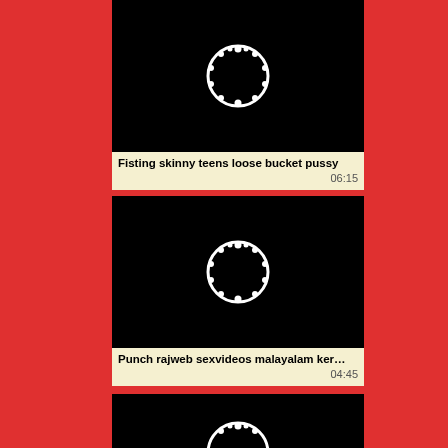[Figure (screenshot): Video thumbnail showing black screen with white circle loading spinner]
Fisting skinny teens loose bucket pussy
06:15
[Figure (screenshot): Video thumbnail showing black screen with white circle loading spinner]
Punch rajweb sexvideos malayalam ker…
04:45
[Figure (screenshot): Video thumbnail showing black screen with partial white circle loading spinner at bottom]